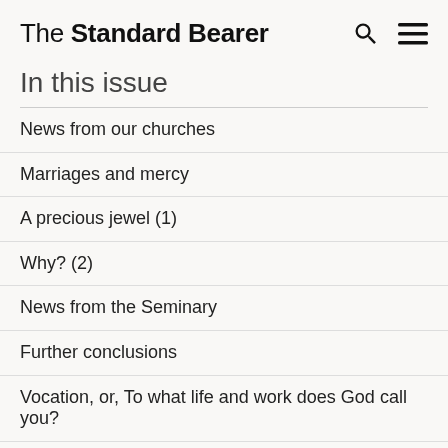The Standard Bearer
In this issue
News from our churches
Marriages and mercy
A precious jewel (1)
Why? (2)
News from the Seminary
Further conclusions
Vocation, or, To what life and work does God call you?
“Work out your own salvation!”